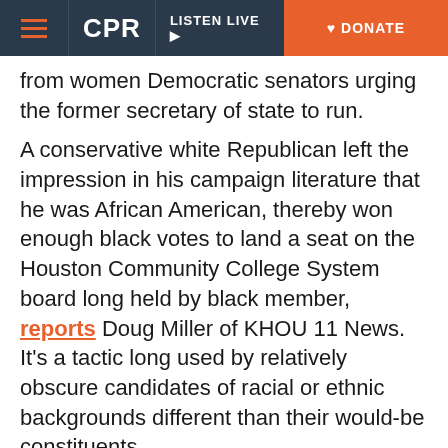CPR | LISTEN LIVE ▶ | DONATE
from women Democratic senators urging the former secretary of state to run.
A conservative white Republican left the impression in his campaign literature that he was African American, thereby won enough black votes to land a seat on the Houston Community College System board long held by black member, reports Doug Miller of KHOU 11 News. It's a tactic long used by relatively obscure candidates of racial or ethnic backgrounds different than their would-be constituents.
Copyright 2013 NPR. To see more, visit http://www.npr.org/.